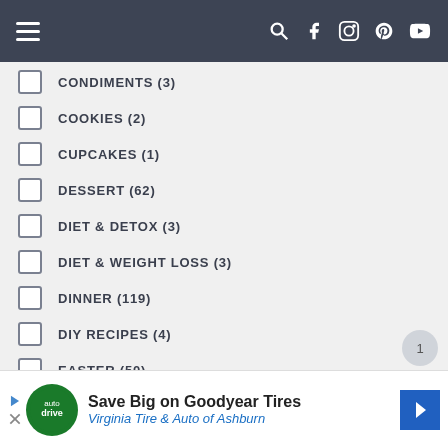Navigation bar with hamburger menu and social icons
CONDIMENTS (3)
COOKIES (2)
CUPCAKES (1)
DESSERT (62)
DIET & DETOX (3)
DIET & WEIGHT LOSS (3)
DINNER (119)
DIY RECIPES (4)
EASTER (50)
EASTER SHOWCASE (7)
FALL SHOWCASE (6)
HALLOWEEN (3)
Save Big on Goodyear Tires — Virginia Tire & Auto of Ashburn